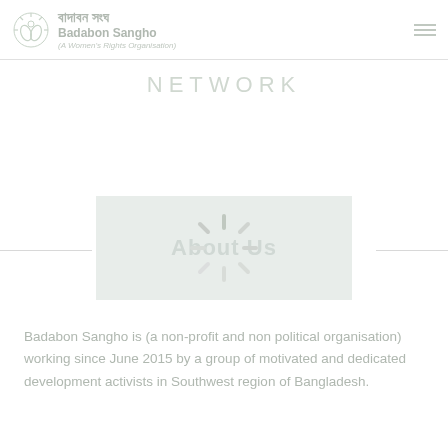বাদাবন সংঘ | Badabon Sangho | (A Women's Rights Organisation)
NETWORK
[Figure (infographic): About Us banner with loading spinner overlay on a light green-grey background]
Badabon Sangho is (a non-profit and non political organisation) working since June 2015 by a group of motivated and dedicated development activists in Southwest region of Bangladesh.